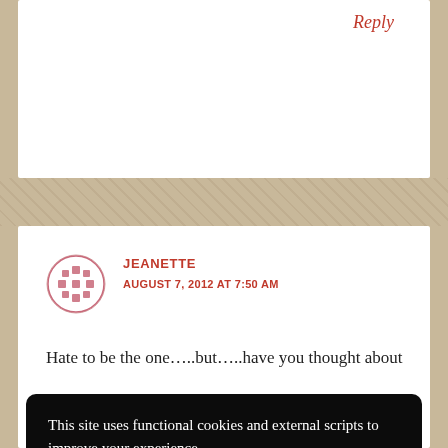Reply
JEANETTE
AUGUST 7, 2012 AT 7:50 AM
Hate to be the one…..but…..have you thought about
This site uses functional cookies and external scripts to improve your experience..
My settings
Accept
recorder and speak those scenes or actions you eant